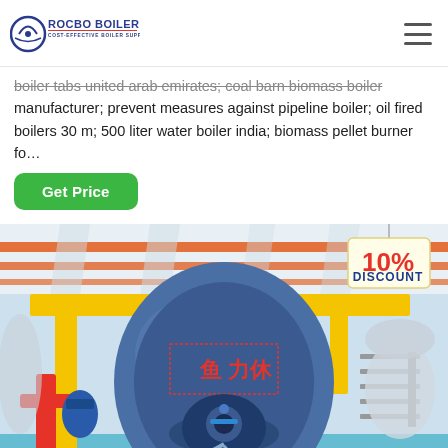[Figure (logo): Rocbo Boiler logo with circular icon and text 'ROCBO BOILER - COST-EFFECTIVE BOILER SUPPLIER']
boiler tabs united arab emirates; coal barn biomass boiler manufacturer; prevent measures against pipeline boiler; oil fired boilers 30 m; 500 liter water boiler india; biomass pellet burner fo…
Get Price
[Figure (photo): Industrial boiler room with a large blue cylindrical boiler, yellow structural pipes/beams, red and blue pipework, Chinese characters on boiler, in a facility with white ceiling and orange accent pipes.]